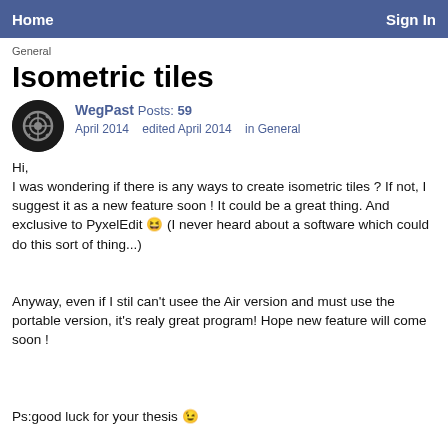Home   Sign In
General
Isometric tiles
WegPast Posts: 59
April 2014   edited April 2014   in General
Hi,
I was wondering if there is any ways to create isometric tiles ? If not, I suggest it as a new feature soon ! It could be a great thing. And exclusive to PyxelEdit 😆 (I never heard about a software which could do this sort of thing...)

Anyway, even if I stil can't usee the Air version and must use the portable version, it's realy great program! Hope new feature will come soon !


Ps:good luck for your thesis 😉